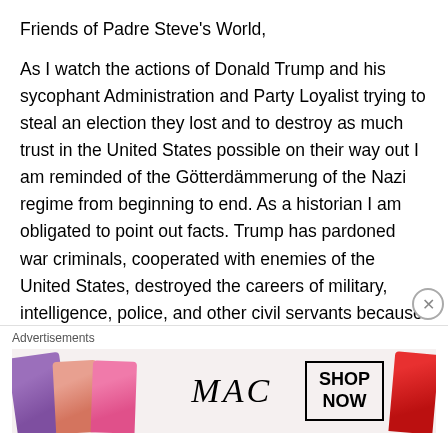Friends of Padre Steve's World,
As I watch the actions of Donald Trump and his sycophant Administration and Party Loyalist trying to steal an election they lost and to destroy as much trust in the United States possible on their way out I am reminded of the Götterdämmerung of the Nazi regime from beginning to end. As a historian I am obligated to point out facts. Trump has pardoned war criminals, cooperated with enemies of the United States, destroyed the careers of military, intelligence, police, and other civil servants because they upheld their oaths to the Constitution. He has been complicit in the deaths of over a quarter of a million
Advertisements
[Figure (photo): MAC Cosmetics advertisement banner showing lipsticks in purple, peach, pink, and red colors alongside the MAC logo in italic script and a 'SHOP NOW' call-to-action box.]